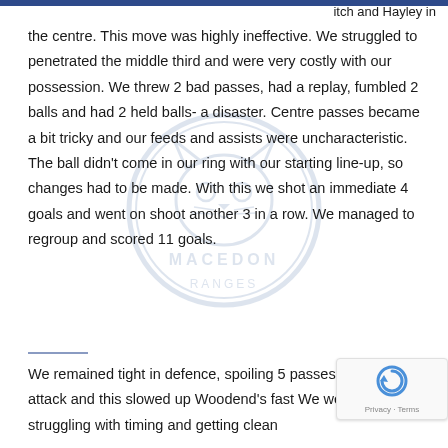itch and Hayley in
the centre. This move was highly ineffective. We struggled to penetrated the middle third and were very costly with our possession. We threw 2 bad passes, had a replay, fumbled 2 balls and had 2 held balls- a disaster. Centre passes became a bit tricky and our feeds and assists were uncharacteristic. The ball didn't come in our ring with our starting line-up, so changes had to be made. With this we shot an immediate 4 goals and went on shoot another 3 in a row. We managed to regroup and scored 11 goals.
[Figure (logo): Macedon Ranges netball club watermark logo in light blue]
We remained tight in defence, spoiling 5 passes in their attack and this slowed up Woodend's fast We were struggling with timing and getting clean